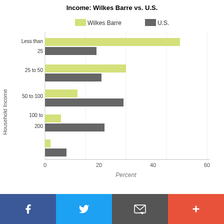Income: Wilkes Barre vs. U.S.
[Figure (grouped-bar-chart): Income: Wilkes Barre vs. U.S.]